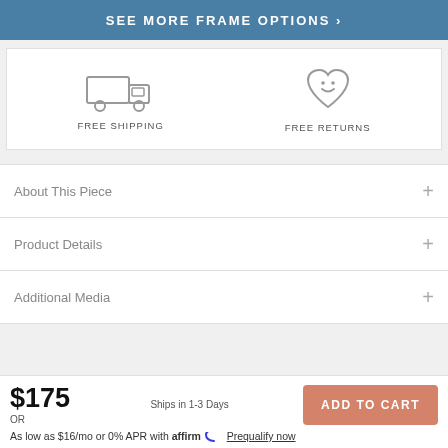SEE MORE FRAME OPTIONS ›
[Figure (illustration): Truck outline icon representing free shipping]
FREE SHIPPING
[Figure (illustration): Heart with smiley face icon representing free returns]
FREE RETURNS
About This Piece
Product Details
Additional Media
$175
OR
Ships in 1-3 Days
ADD TO CART
As low as $16/mo or 0% APR with affirm Prequalify now